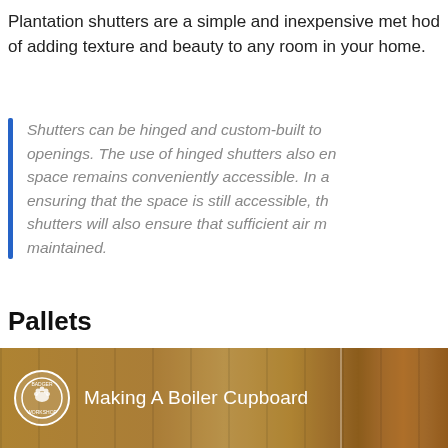Plantation shutters are a simple and inexpensive method of adding texture and beauty to any room in your home.
Shutters can be hinged and custom-built to openings. The use of hinged shutters also ensures space remains conveniently accessible. In addition to ensuring that the space is still accessible, the shutters will also ensure that sufficient air movement is maintained.
Pallets
[Figure (screenshot): Video thumbnail showing a wooden boiler cupboard interior with white panel. Badger Workshop logo circle on the left and title 'Making A Boiler Cupboard' in white text.]